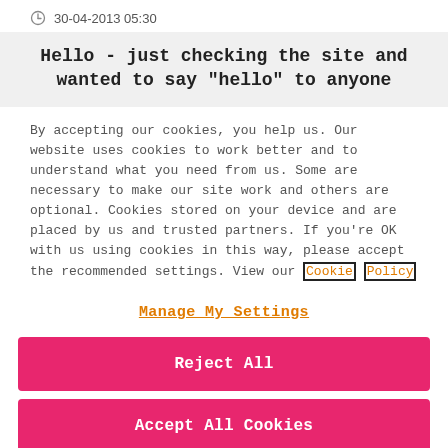30-04-2013 05:30
Hello - just checking the site and wanted to say "hello" to anyone
By accepting our cookies, you help us. Our website uses cookies to work better and to understand what you need from us. Some are necessary to make our site work and others are optional. Cookies stored on your device and are placed by us and trusted partners. If you're OK with us using cookies in this way, please accept the recommended settings. View our Cookie Policy
Manage My Settings
Reject All
Accept All Cookies